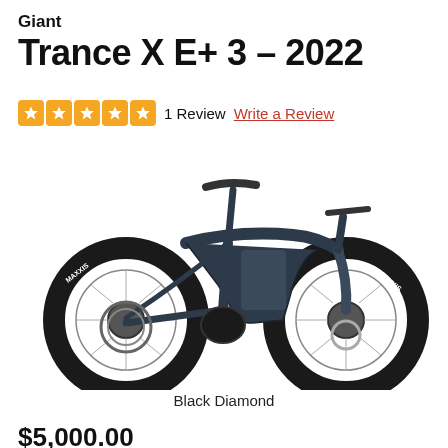Giant
Trance X E+ 3 – 2022
1 Review   Write a Review
[Figure (photo): Side profile photo of a Giant Trance X E+ 3 2022 electric mountain bike in Black Diamond color, showing full suspension, Maxxis tires, dropper saddle, and disc brakes.]
Black Diamond
$5,000.00